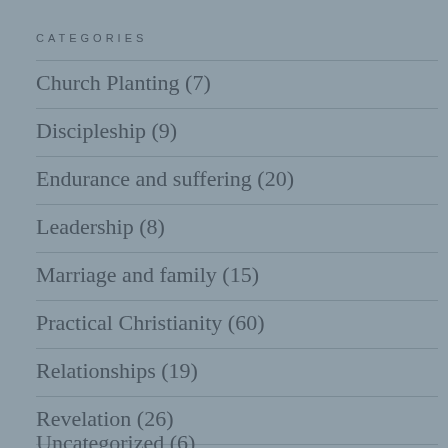CATEGORIES
Church Planting (7)
Discipleship (9)
Endurance and suffering (20)
Leadership (8)
Marriage and family (15)
Practical Christianity (60)
Relationships (19)
Revelation (26)
Uncategorized (6)